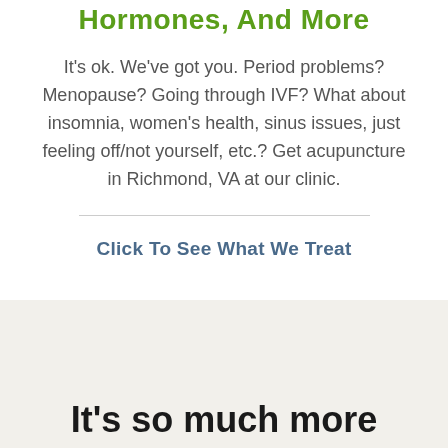Hormones, And More
It's ok. We've got you. Period problems? Menopause? Going through IVF? What about insomnia, women's health, sinus issues, just feeling off/not yourself, etc.? Get acupuncture in Richmond, VA at our clinic.
Click To See What We Treat
It's so much more than acupuncture alone. Read